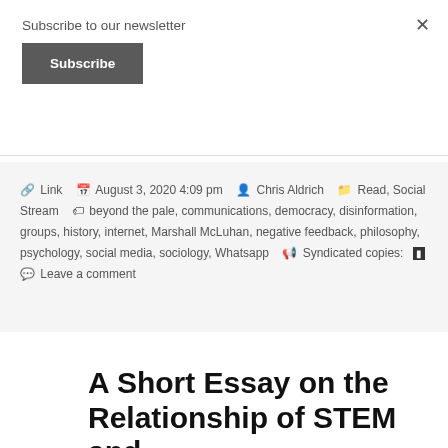Subscribe to our newsletter
Subscribe
× (close)
🔗 Link  📅 August 3, 2020 4:09 pm  👤 Chris Aldrich  📁 Read, Social Stream  🏷 beyond the pale, communications, democracy, disinformation, groups, history, internet, Marshall McLuhan, negative feedback, philosophy, psychology, social media, sociology, Whatsapp  📣 Syndicated copies:  🔖  💬 Leave a comment
A Short Essay on the Relationship of STEM and Racist Id...